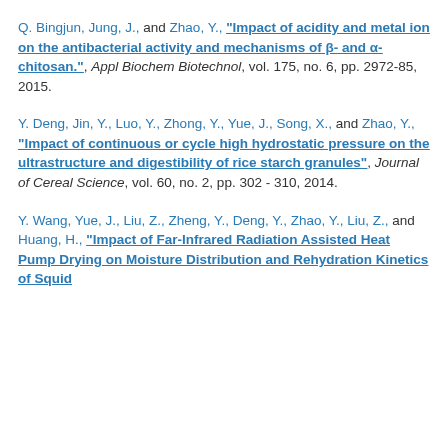Q. Bingjun, Jung, J., and Zhao, Y., "Impact of acidity and metal ion on the antibacterial activity and mechanisms of β- and α-chitosan.", Appl Biochem Biotechnol, vol. 175, no. 6, pp. 2972-85, 2015.
Y. Deng, Jin, Y., Luo, Y., Zhong, Y., Yue, J., Song, X., and Zhao, Y., "Impact of continuous or cycle high hydrostatic pressure on the ultrastructure and digestibility of rice starch granules", Journal of Cereal Science, vol. 60, no. 2, pp. 302 - 310, 2014.
Y. Wang, Yue, J., Liu, Z., Zheng, Y., Deng, Y., Zhao, Y., Liu, Z., and Huang, H., "Impact of Far-Infrared Radiation Assisted Heat Pump Drying on Moisture Distribution and Rehydration Kinetics of Squid Fillets During Rehydration", Journal of Aquatic...